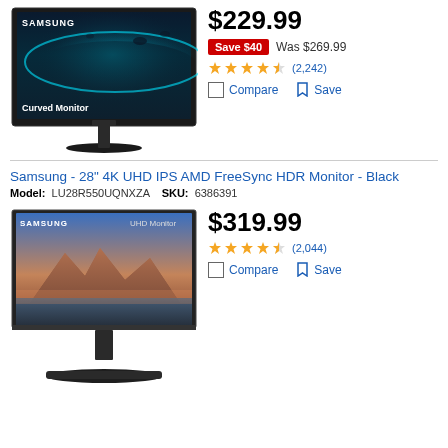[Figure (photo): Samsung Curved Monitor product image showing a curved display with teal ocean/space background, SAMSUNG branding top-left, 'Curved Monitor' text bottom-left, monitor on stand]
$229.99
Save $40  Was $269.99
★★★★½ (2,242)
Compare  Save
Samsung - 28" 4K UHD IPS AMD FreeSync HDR Monitor - Black
Model: LU28R550UQNXZA  SKU: 6386391
[Figure (photo): Samsung UHD Monitor product image showing a flat display with mountain landscape at sunset, SAMSUNG branding top-left, 'UHD Monitor' text top-right, monitor on stand]
$319.99
★★★★½ (2,044)
Compare  Save